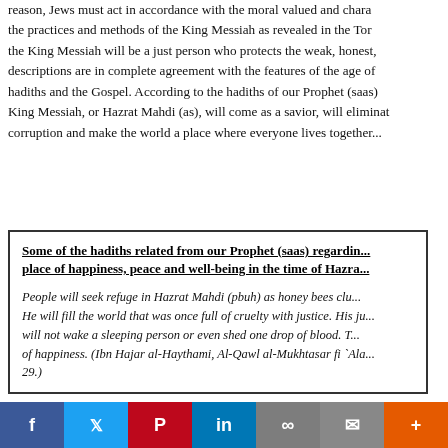reason, Jews must act in accordance with the moral valued and characteristics, the practices and methods of the King Messiah as revealed in the Torah. the King Messiah will be a just person who protects the weak, honest,... descriptions are in complete agreement with the features of the age of the hadiths and the Gospel. According to the hadiths of our Prophet (saas), the King Messiah, or Hazrat Mahdi (as), will come as a savior, will eliminate corruption and make the world a place where everyone lives together...
Some of the hadiths related from our Prophet (saas) regarding... place of happiness, peace and well-being in the time of Hazra...
People will seek refuge in Hazrat Mahdi (pbuh) as honey bees clu... He will fill the world that was once full of cruelty with justice. His ju... will not wake a sleeping person or even shed one drop of blood. T... of happiness. (Ibn Hajar al-Haythami, Al-Qawl al-Mukhtasar fi `Ala... 29.)